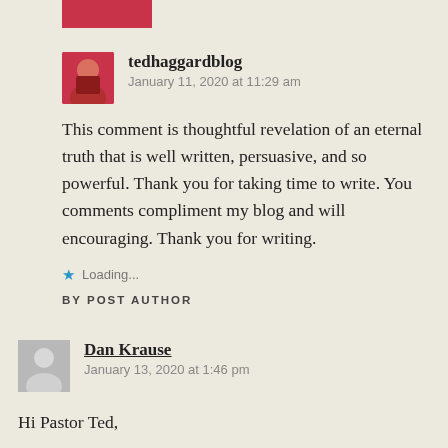[Figure (photo): Red/pink rectangular bar at top]
[Figure (photo): Avatar photo of tedhaggardblog commenter - man in red shirt]
tedhaggardblog
January 11, 2020 at 11:29 am
This comment is thoughtful revelation of an eternal truth that is well written, persuasive, and so powerful. Thank you for taking time to write. You comments compliment my blog and will encouraging. Thank you for writing.
Loading...
BY POST AUTHOR
[Figure (illustration): Generic person avatar placeholder icon]
Dan Krause
January 13, 2020 at 1:46 pm
Hi Pastor Ted,